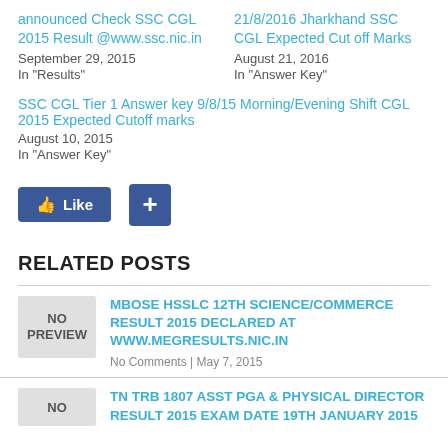announced Check SSC CGL 2015 Result @www.ssc.nic.in
September 29, 2015
In "Results"
21/8/2016 Jharkhand SSC CGL Expected Cut off Marks
August 21, 2016
In "Answer Key"
SSC CGL Tier 1 Answer key 9/8/15 Morning/Evening Shift CGL 2015 Expected Cutoff marks
August 10, 2015
In "Answer Key"
[Figure (other): Facebook Like button and plus button]
RELATED POSTS
MBOSE HSSLC 12TH SCIENCE/COMMERCE RESULT 2015 DECLARED AT WWW.MEGRESULTS.NIC.IN
No Comments | May 7, 2015
TN TRB 1807 ASST PGA & PHYSICAL DIRECTOR RESULT 2015 EXAM DATE 19TH JANUARY 2015